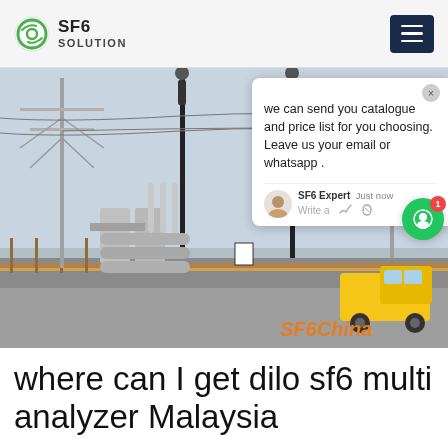SF6 SOLUTION
[Figure (photo): Electrical substation with high-voltage transmission towers, insulators, and switchgear equipment. A yellow utility truck is parked in the foreground. A chat popup overlay is visible on the right side. Watermark text 'SF6China' appears in orange at bottom right.]
where can I get dilo sf6 multi analyzer Malaysia